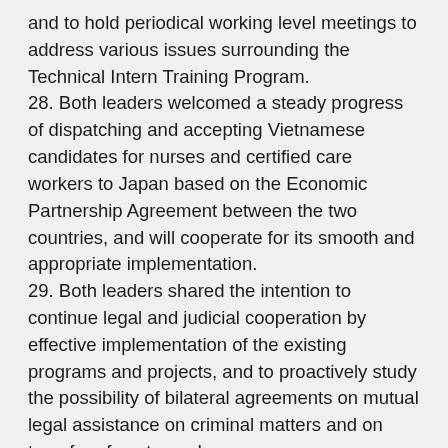and to hold periodical working level meetings to address various issues surrounding the Technical Intern Training Program.
28. Both leaders welcomed a steady progress of dispatching and accepting Vietnamese candidates for nurses and certified care workers to Japan based on the Economic Partnership Agreement between the two countries, and will cooperate for its smooth and appropriate implementation.
29. Both leaders shared the intention to continue legal and judicial cooperation by effective implementation of the existing programs and projects, and to proactively study the possibility of bilateral agreements on mutual legal assistance on criminal matters and on transfer of sentenced persons.
30. Both sides shared the intention to strengthen comprehensive cooperation in urban development, especially effective implementation of eco-cities, smart cities, and Transit-oriented Development (TOD) integrated